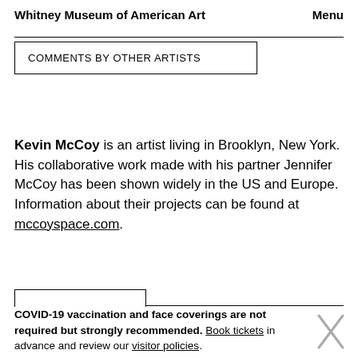Whitney Museum of American Art    Menu
COMMENTS BY OTHER ARTISTS
Kevin McCoy is an artist living in Brooklyn, New York. His collaborative work made with his partner Jennifer McCoy has been shown widely in the US and Europe. Information about their projects can be found at mccoyspace.com.
COVID-19 vaccination and face coverings are not required but strongly recommended. Book tickets in advance and review our visitor policies.